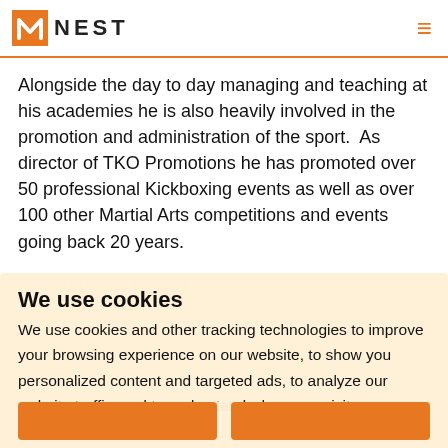NEST
Alongside the day to day managing and teaching at his academies he is also heavily involved in the promotion and administration of the sport.  As director of TKO Promotions he has promoted over 50 professional Kickboxing events as well as over 100 other Martial Arts competitions and events going back 20 years.
We use cookies
We use cookies and other tracking technologies to improve your browsing experience on our website, to show you personalized content and targeted ads, to analyze our website traffic, and to understand where our visitors are coming from.